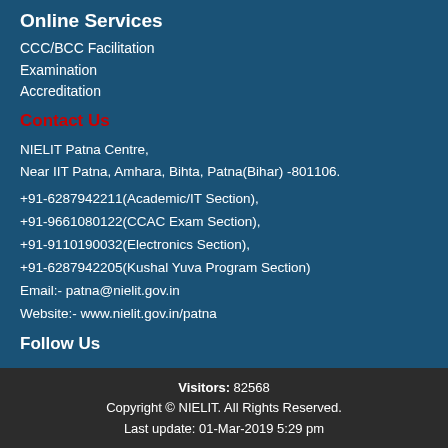Online Services
CCC/BCC Facilitation
Examination
Accreditation
Contact Us
NIELIT Patna Centre,
Near IIT Patna, Amhara, Bihta, Patna(Bihar) -801106.
+91-6287942211(Academic/IT Section),
+91-9661080122(CCAC Exam Section),
+91-9110190032(Electronics Section),
+91-6287942205(Kushal Yuva Program Section)
Email:- patna@nielit.gov.in
Website:- www.nielit.gov.in/patna
Follow Us
Visitors: 82568
Copyright © NIELIT. All Rights Reserved.
Last update: 01-Mar-2019 5:29 pm